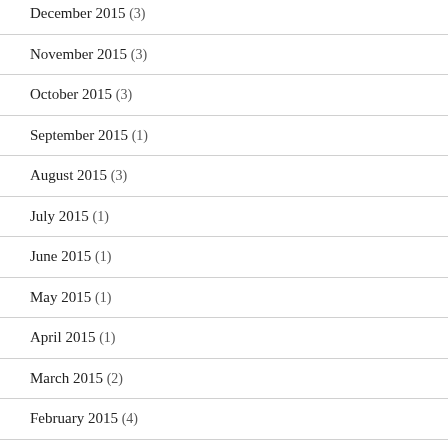December 2015 (3)
November 2015 (3)
October 2015 (3)
September 2015 (1)
August 2015 (3)
July 2015 (1)
June 2015 (1)
May 2015 (1)
April 2015 (1)
March 2015 (2)
February 2015 (4)
January 2015 (1)